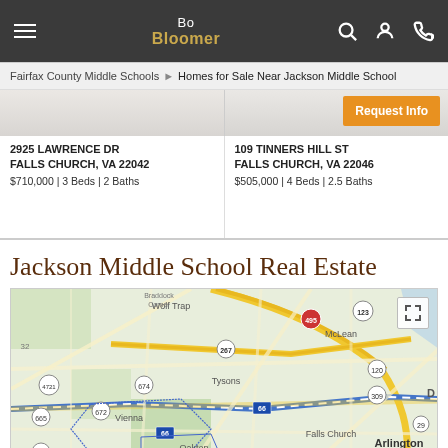Bo Bloomer
Fairfax County Middle Schools > Homes for Sale Near Jackson Middle School
2925 LAWRENCE DR
FALLS CHURCH, VA 22042
$710,000 | 3 Beds | 2 Baths
109 TINNERS HILL ST
FALLS CHURCH, VA 22046
$505,000 | 4 Beds | 2.5 Baths
Jackson Middle School Real Estate
[Figure (map): Google map showing Northern Virginia area including Wolf Trap, McLean, Tysons, Vienna, Oakton, Falls Church, Merrifield, Arlington, Seven Corners]